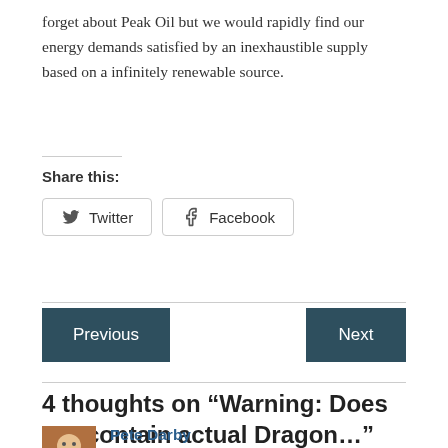forget about Peak Oil but we would rapidly find our energy demands satisfied by an inexhaustible supply based on a infinitely renewable source.
Share this:
[Figure (other): Share buttons for Twitter and Facebook]
[Figure (other): Previous and Next navigation buttons]
4 thoughts on “Warning: Does not contain actual Dragon…”
Pete Darby
NOVEMBER 21, 2006 AT 11:16 AM